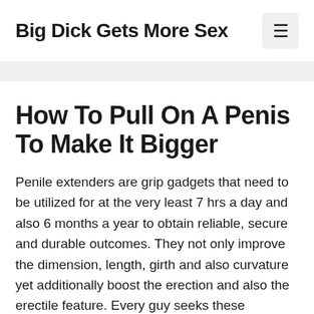Big Dick Gets More Sex
How To Pull On A Penis To Make It Bigger
Penile extenders are grip gadgets that need to be utilized for at the very least 7 hrs a day and also 6 months a year to obtain reliable, secure and durable outcomes. They not only improve the dimension, length, girth and also curvature yet additionally boost the erection and also the erectile feature. Every guy seeks these functions in a penis